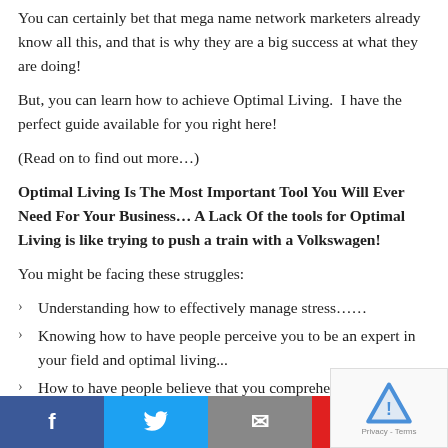You can certainly bet that mega name network marketers already know all this, and that is why they are a big success at what they are doing!
But, you can learn how to achieve Optimal Living.  I have the perfect guide available for you right here!
(Read on to find out more…)
Optimal Living Is The Most Important Tool You Will Ever Need For Your Business… A Lack Of the tools for Optimal Living is like trying to push a train with a Volkswagen!
You might be facing these struggles:
Understanding how to effectively manage stress……
Knowing how to have people perceive you to be an expert in your field and optimal living...
How to have people believe that you comprehen… sues, and can help them to solve th…